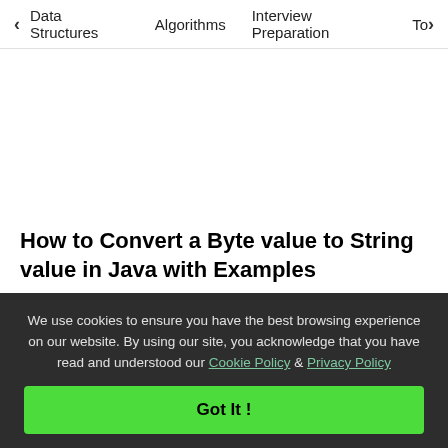< Data Structures   Algorithms   Interview Preparation   To>
How to Convert a Byte value to String value in Java with Examples
Given a Byte value in Java, the task is to convert this byte value to string type. Examples: Input: 1 Output: "1" Input: 3 Output:... Read More
We use cookies to ensure you have the best browsing experience on our website. By using our site, you acknowledge that you have read and understood our Cookie Policy & Privacy Policy
Got It !